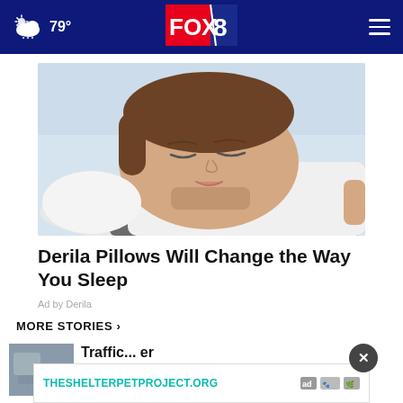79° FOX 8
[Figure (photo): Man sleeping on a Derila pillow, eyes closed, resting on a white ergonomic pillow with dark fabric section]
Derila Pillows Will Change the Way You Sleep
Ad by Derila
MORE STORIES ›
[Figure (photo): Small thumbnail image of a news story, partially visible at bottom left]
Traffic... er (partially visible headline)
[Figure (screenshot): Advertisement banner: THESHELTERPETPROJECT.ORG with ad badge icons]